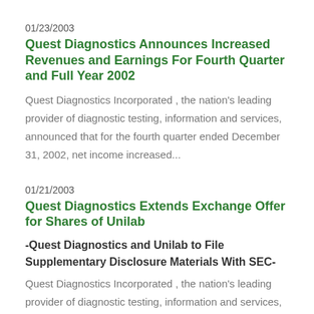01/23/2003
Quest Diagnostics Announces Increased Revenues and Earnings For Fourth Quarter and Full Year 2002
Quest Diagnostics Incorporated , the nation's leading provider of diagnostic testing, information and services, announced that for the fourth quarter ended December 31, 2002, net income increased...
01/21/2003
Quest Diagnostics Extends Exchange Offer for Shares of Unilab
-Quest Diagnostics and Unilab to File Supplementary Disclosure Materials With SEC-
Quest Diagnostics Incorporated , the nation's leading provider of diagnostic testing, information and services,